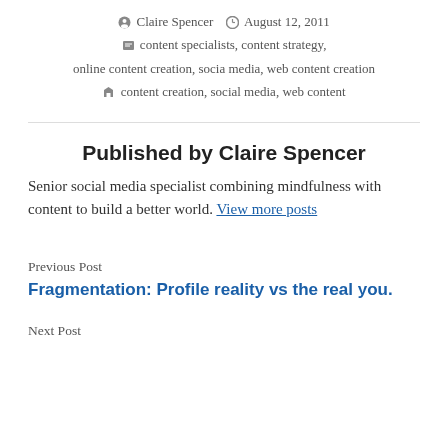Claire Spencer  August 12, 2011  content specialists, content strategy, online content creation, socia media, web content creation  content creation, social media, web content
Published by Claire Spencer
Senior social media specialist combining mindfulness with content to build a better world. View more posts
Previous Post
Fragmentation: Profile reality vs the real you.
Next Post